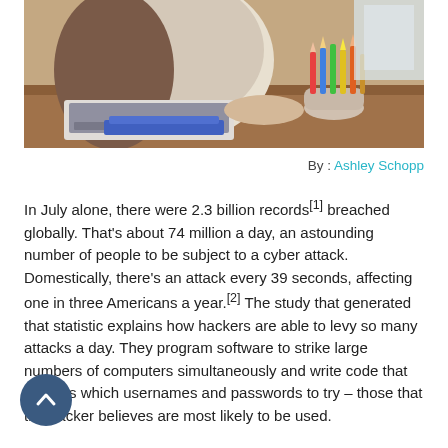[Figure (photo): Person sitting at a desk with a laptop and a cup of colored pencils, viewed from above/side angle.]
By : Ashley Schopp
In July alone, there were 2.3 billion records[1] breached globally. That's about 74 million a day, an astounding number of people to be subject to a cyber attack. Domestically, there's an attack every 39 seconds, affecting one in three Americans a year.[2] The study that generated that statistic explains how hackers are able to levy so many attacks a day. They program software to strike large numbers of computers simultaneously and write code that controls which usernames and passwords to try – those that the hacker believes are most likely to be used.